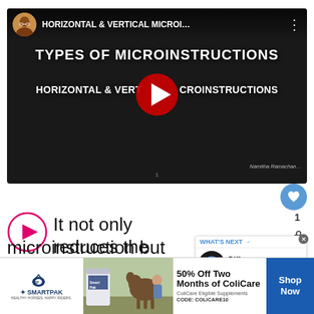[Figure (screenshot): YouTube video thumbnail showing a slide titled 'TYPES OF MICROINSTRUCTIONS' and 'HORIZONTAL & VERTICAL MICROINSTRUCTIONS' with a large red play button overlay. Video uploaded by Namitha Ramachandr channel.]
It not only reduces the length of the microinstruction but also avoids the...
[Figure (screenshot): What's Next panel showing 'Difference Between...' with a record/vinyl icon]
[Figure (screenshot): SmartPak advertisement: 50% Off Two Months of ColiCare, ColiCare Eligible Supplements, CODE: COLICARE10, with Shop Now button]